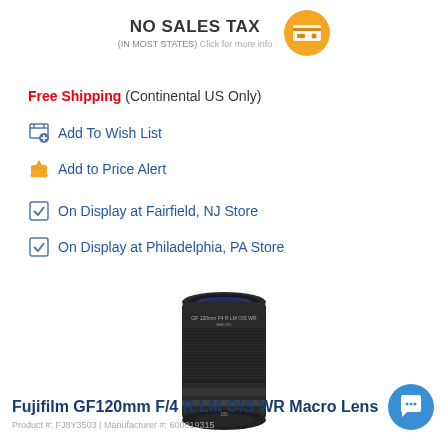NO SALES TAX (IN MOST STATES) Click for more info
Free Shipping (Continental US Only)
Add To Wish List
Add to Price Alert
On Display at Fairfield, NJ Store
On Display at Philadelphia, PA Store
[Figure (photo): Fujifilm GF120mm F/4 R LM OIS WR Macro Lens product photo showing a black telephoto lens]
Fujifilm GF120mm F/4 R LM OIS WR Macro Lens
Product #: FJ8Y3503 | Manufacturer #: 600019315